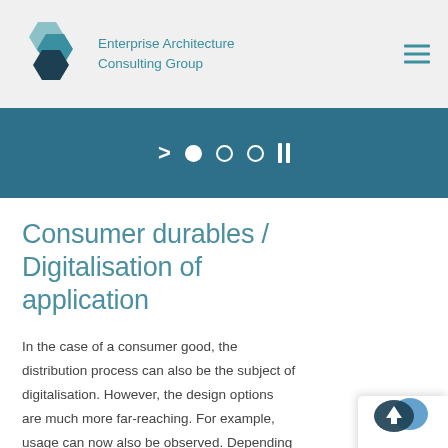Enterprise Architecture Consulting Group
[Figure (infographic): Slideshow navigation controls: arrow, filled dot, two empty circles, pause bars on teal background]
Consumer durables / Digitalisation of application
In the case of a consumer good, the distribution process can also be the subject of digitalisation. However, the design options are much more far-reaching. For example, usage can now also be observed. Depending